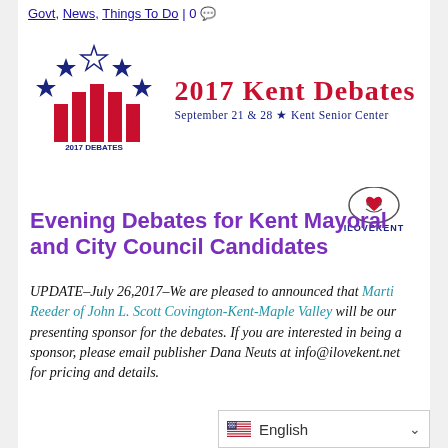Govt, News, Things To Do | 0
[Figure (logo): 2017 Kent Debates logo with red bar chart bars and stars arranged in an arc, with text '2017 KENT DEBATES September 21 & 28 ★ Kent Senior Center' and ILoveKent logo]
Evening Debates for Kent Mayoral and City Council Candidates
UPDATE–July 26,2017–We are pleased to announced that Marti Reeder of John L. Scott Covington-Kent-Maple Valley will be our presenting sponsor for the debates. If you are interested in being a sponsor, please email publisher Dana Neuts at info@ilovekent.net for pricing and details.